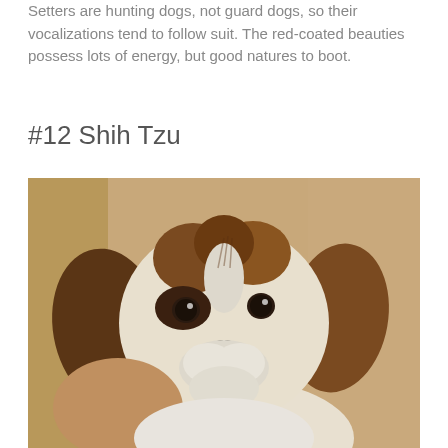Setters are hunting dogs, not guard dogs, so their vocalizations tend to follow suit. The red-coated beauties possess lots of energy, but good natures to boot.
#12 Shih Tzu
[Figure (photo): Close-up photo of a Shih Tzu puppy with brown and white fluffy fur, dark expressive eyes, a black nose, and a pink collar, against a warm tan/beige background.]